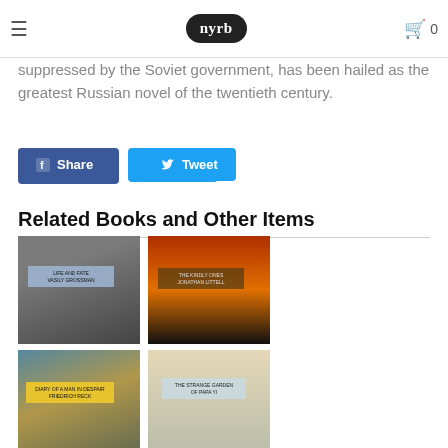nyrb
suppressed by the Soviet government, has been hailed as the greatest Russian novel of the twentieth century.
Share
Tweet
Related Books and Other Items
[Figure (photo): Book cover 1 - dark grayscale cover with blue label badge]
[Figure (photo): Book cover 2 - fire/flames cover with orange tones]
[Figure (photo): Book cover 3 - yellow label cover with landscape background]
[Figure (photo): Book cover 4 - map/beige cover with light blue label]
[Figure (photo): Book cover 5 - clock/watches cover with yellow label]
[Figure (photo): Book cover 6 - red cover]